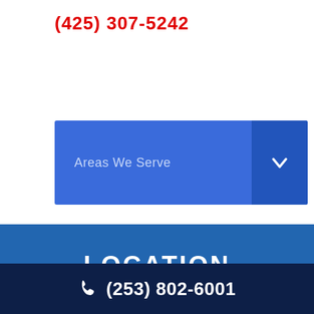(425) 307-5242
[Figure (screenshot): Blue dropdown button labeled 'Areas We Serve' with a chevron arrow on the right side]
LOCATION
Issaquah, WA 98029
(425) 307-5242
(253) 802-6001